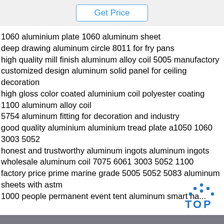[Figure (other): Get Price button with blue border and blue text]
1060 aluminium plate 1060 aluminum sheet
deep drawing aluminum circle 8011 for fry pans
high quality mill finish aluminum alloy coil 5005 manufactory
customized design aluminum solid panel for ceiling decoration
high gloss color coated aluminium coil polyester coating
1100 aluminum alloy coil
5754 aluminum fitting for decoration and industry
good quality aluminium aluminium tread plate a1050 1060 3003 5052
honest and trustworthy aluminum ingots aluminum ingots
wholesale aluminum coil 7075 6061 3003 5052 1100
factory price prime marine grade 5005 5052 5083 aluminum sheets with astm
1000 people permanent event tent aluminum smart ha...
[Figure (logo): TOP logo with dots arranged in triangle above the text TOP in blue]